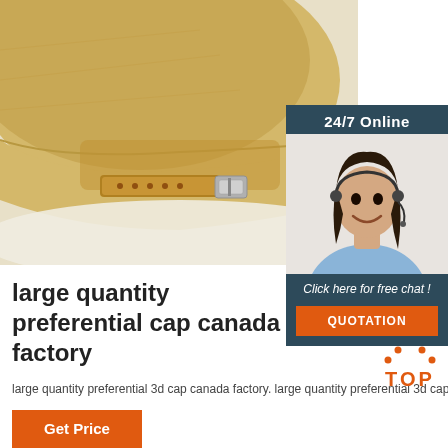[Figure (photo): Close-up photo of the back of a beige/tan baseball cap showing the strap and metal buckle adjuster, on a light background]
[Figure (infographic): 24/7 Online customer service widget showing a smiling woman with headset, with 'Click here for free chat!' text and an orange QUOTATION button]
large quantity preferential cap canada factory
large quantity preferential 3d cap canada factory. large quantity preferential 3d cap canada factory Just fill in the form below, click submit, you will get the …
[Figure (logo): TOP button with orange dots above and orange bold text 'TOP']
Get Price